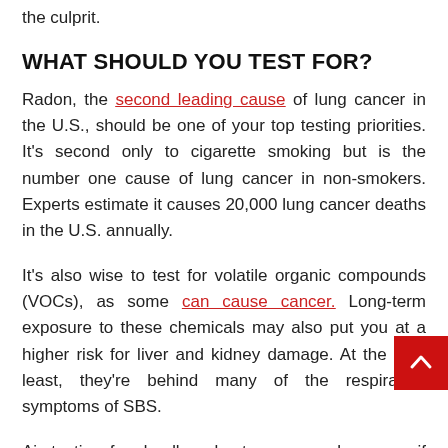the culprit.
WHAT SHOULD YOU TEST FOR?
Radon, the second leading cause of lung cancer in the U.S., should be one of your top testing priorities. It's second only to cigarette smoking but is the number one cause of lung cancer in non-smokers. Experts estimate it causes 20,000 lung cancer deaths in the U.S. annually.
It's also wise to test for volatile organic compounds (VOCs), as some can cause cancer. Long-term exposure to these chemicals may also put you at a higher risk for liver and kidney damage. At the very least, they're behind many of the respiratory symptoms of SBS.
Air testing for deadly asbestos may make sense if you suspect this material is in your home. That's likely, as experts b… over half of U.S. homes have structures with this mineral. And if you have degrading asbestos materials, their crystals or fibers